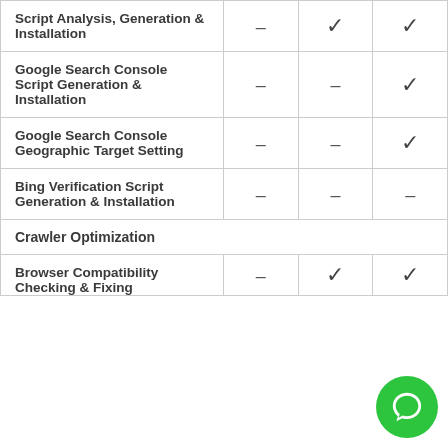| Feature | Plan 1 | Plan 2 | Plan 3 |
| --- | --- | --- | --- |
| Script Analysis, Generation & Installation | – | ✓ | ✓ |
| Google Search Console Script Generation & Installation | – | – | ✓ |
| Google Search Console Geographic Target Setting | – | – | ✓ |
| Bing Verification Script Generation & Installation | – | – | – |
| Crawler Optimization |  |  |  |
| Browser Compatibility Checking & Fixing | – | ✓ | ✓ |